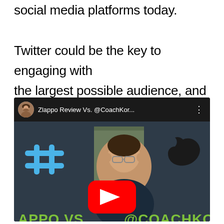social media platforms today.

Twitter could be the key to engaging with the largest possible audience, and I'll show you how to use it.
[Figure (screenshot): YouTube video thumbnail showing a man with glasses, a blue hashtag symbol on the left, a Twitter bird logo on the right, with the title 'Zlappo Review Vs. @CoachKor...' and green text 'APPO VS @COACHKO' at the bottom.]